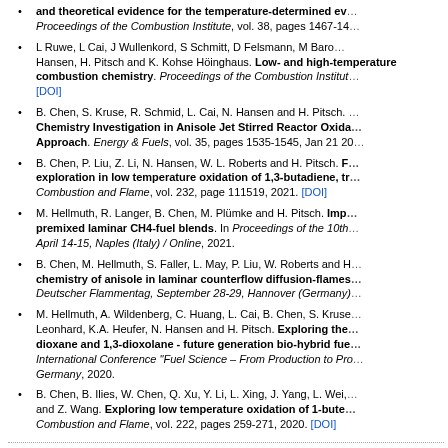and theoretical evidence for the temperature-determined ev... Proceedings of the Combustion Institute, vol. 38, pages 1467-14...
L Ruwe, L Cai, J Wullenkord, S Schmitt, D Felsmann, M Baro... Hansen, H. Pitsch and K. Kohse Höinghaus. Low- and high-temperature combustion chemistry. Proceedings of the Combustion Institut... [DOI]
B. Chen, S. Kruse, R. Schmid, L. Cai, N. Hansen and H. Pitsch. Chemistry Investigation in Anisole Jet Stirred Reactor Oxida... Approach. Energy & Fuels, vol. 35, pages 1535-1545, Jan 21 20...
B. Chen, P. Liu, Z. Li, N. Hansen, W. L. Roberts and H. Pitsch. F... exploration in low temperature oxidation of 1,3-butadiene, tr... Combustion and Flame, vol. 232, page 111519, 2021. [DOI]
M. Hellmuth, R. Langer, B. Chen, M. Plümke and H. Pitsch. Imp... premixed laminar CH4-fuel blends. In Proceedings of the 10th... April 14-15, Naples (Italy) / Online, 2021.
B. Chen, M. Hellmuth, S. Faller, L. May, P. Liu, W. Roberts and H... chemistry of anisole in laminar counterflow diffusion-flames... Deutscher Flammentag, September 28-29, Hannover (Germany)...
M. Hellmuth, A. Wildenberg, C. Huang, L. Cai, B. Chen, S. Kruse... Leonhard, K.A. Heufer, N. Hansen and H. Pitsch. Exploring the... dioxane and 1,3-dioxolane - future generation bio-hybrid fue... International Conference "Fuel Science – From Production to Pro... Germany, 2020.
B. Chen, B. Ilies, W. Chen, Q. Xu, Y. Li, L. Xing, J. Yang, L. Wei,... and Z. Wang. Exploring low temperature oxidation of 1-bute... Combustion and Flame, vol. 222, pages 259-271, 2020. [DOI]